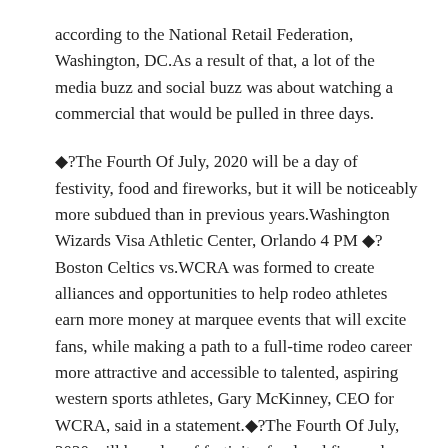according to the National Retail Federation, Washington, DC.As a result of that, a lot of the media buzz and social buzz was about watching a commercial that would be pulled in three days.
◆?The Fourth Of July, 2020 will be a day of festivity, food and fireworks, but it will be noticeably more subdued than in previous years.Washington Wizards Visa Athletic Center, Orlando 4 PM ◆?Boston Celtics vs.WCRA was formed to create alliances and opportunities to help rodeo athletes earn more money at marquee events that will excite fans, while making a path to a full-time rodeo career more attractive and accessible to talented, aspiring western sports athletes, Gary McKinney, CEO for WCRA, said in a statement.◆?The Fourth Of July, 2020 will be a day of festivity, food and fireworks, but it will be noticeably more subdued than in previous years.We'll have plays where the ball comes out fast, our quick passing game.